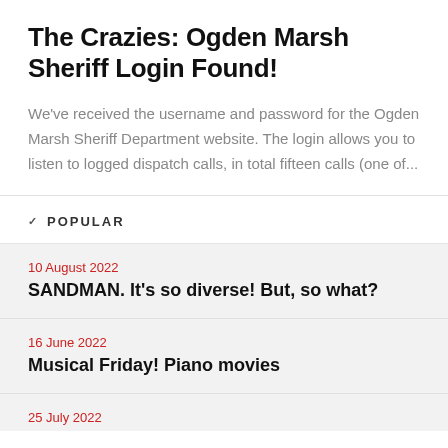The Crazies: Ogden Marsh Sheriff Login Found!
We've received the username and password for the Ogden Marsh Sheriff Department website. The login allows you to listen to logged dispatch calls, in total fifteen calls (one of...
POPULAR
10 August 2022
SANDMAN. It's so diverse! But, so what?
16 June 2022
Musical Friday! Piano movies
25 July 2022